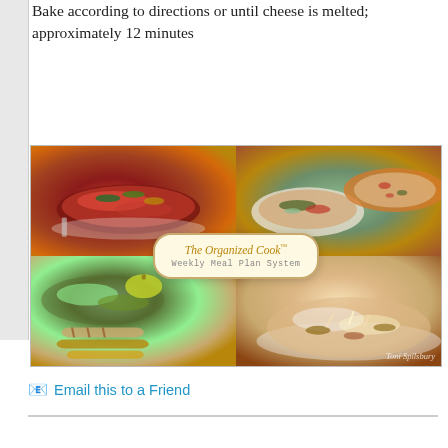Bake according to directions or until cheese is melted; approximately 12 minutes
[Figure (photo): Collage of four food photos with 'The Organized Cook Weekly Meal Plan System' logo overlay in center. Top left: meatloaf with tomato sauce and zucchini. Top right: vegetable soup in bowl and pizza. Bottom left: green salad with pear and grilled chicken strips. Bottom right: creamy pasta dish in white bowl. Watermark 'Toni Spilsbury' in bottom right corner.]
Email this to a Friend